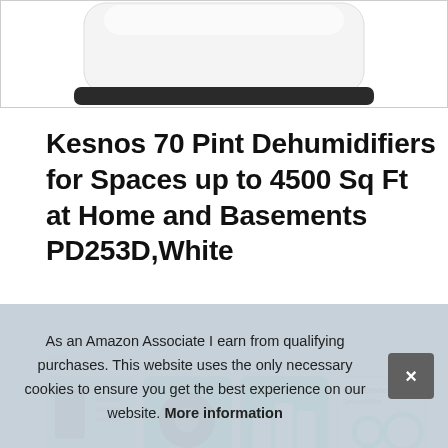[Figure (photo): Partial product image of a white dehumidifier device, cropped at top, showing rounded top edge and black base against white background]
Kesnos 70 Pint Dehumidifiers for Spaces up to 4500 Sq Ft at Home and Basements PD253D,White
#ad
[Figure (photo): Row of four product thumbnail images showing the Kesnos dehumidifier from different angles and with product info cards, teal/green color scheme]
As an Amazon Associate I earn from qualifying purchases. This website uses the only necessary cookies to ensure you get the best experience on our website. More information
Kes